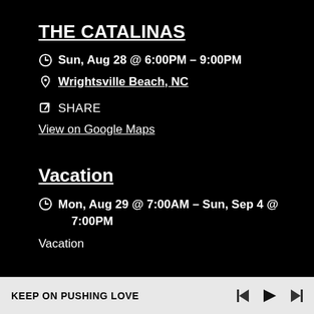THE CATALINAS
Sun, Aug 28 @ 6:00PM – 9:00PM
Wrightsville Beach, NC
SHARE
View on Google Maps
Vacation
Mon, Aug 29 @ 7:00AM – Sun, Sep 4 @ 7:00PM
Vacation
KEEP ON PUSHING LOVE